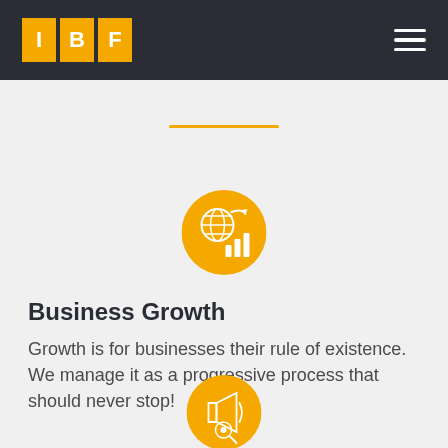IBF
[Figure (illustration): Orange circle icon with a globe and bar chart growth symbol representing business growth]
Business Growth
Growth is for businesses their rule of existence. We manage it as a progressive process that should never stop!
[Figure (illustration): Orange circle icon with a megaphone and target/cursor symbol]